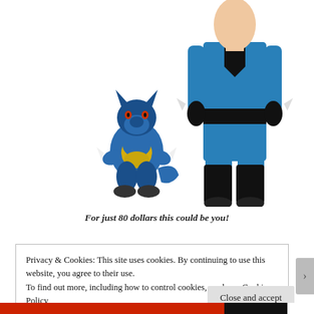[Figure (illustration): Two figures side by side: on the left, a Lucario Pokemon character in blue and black with yellow markings, and on the right, a person wearing a Lucario costume — blue and black full-body suit with gloves and knee-high black socks.]
For just 80 dollars this could be you!
Privacy & Cookies: This site uses cookies. By continuing to use this website, you agree to their use.
To find out more, including how to control cookies, see here: Cookie Policy
Close and accept